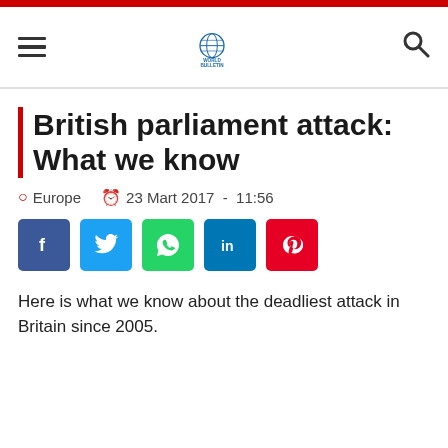[Figure (logo): World Bulletin logo with globe icon and site name in header navigation bar]
British parliament attack: What we know
Europe   23 Mart 2017 - 11:56
[Figure (infographic): Social share buttons: Facebook (blue), Twitter (light blue), WhatsApp (green), LinkedIn (dark blue), Pinterest (red)]
Here is what we know about the deadliest attack in Britain since 2005.